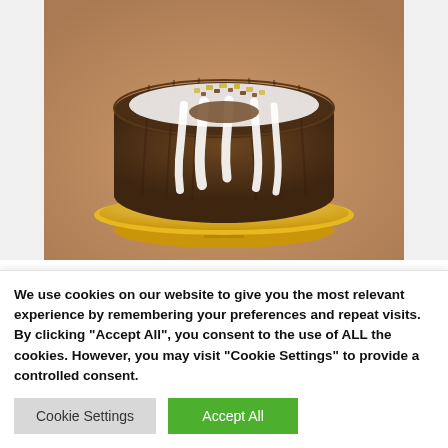[Figure (photo): A Hummingbird Bundt Cake with white cream cheese glaze dripping over the sides, topped with chopped pineapple and pecans, displayed on a gold cake stand on a wooden surface.]
Hummingbird Bundt Cake With Cream Cheese Filling And Pineapple Cream Cheese Glaze The Runaway Spoon Recipe Lemon Pound Cake Recipe
We use cookies on our website to give you the most relevant experience by remembering your preferences and repeat visits. By clicking "Accept All", you consent to the use of ALL the cookies. However, you may visit "Cookie Settings" to provide a controlled consent.
Cookie Settings | Accept All